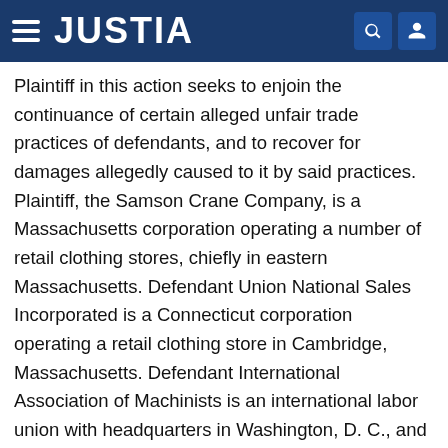JUSTIA
Plaintiff in this action seeks to enjoin the continuance of certain alleged unfair trade practices of defendants, and to recover for damages allegedly caused to it by said practices. Plaintiff, the Samson Crane Company, is a Massachusetts corporation operating a number of retail clothing stores, chiefly in eastern Massachusetts. Defendant Union National Sales Incorporated is a Connecticut corporation operating a retail clothing store in Cambridge, Massachusetts. Defendant International Association of Machinists is an international labor union with headquarters in Washington, D. C., and defendant District Lodge 38, International Association of Machinists is a branch of said international union with a principal place of business in Boston, Massachusetts. Defendant Hayes is alleged to be president of the international union and defendants Kirkland and Tobias to be officers of District